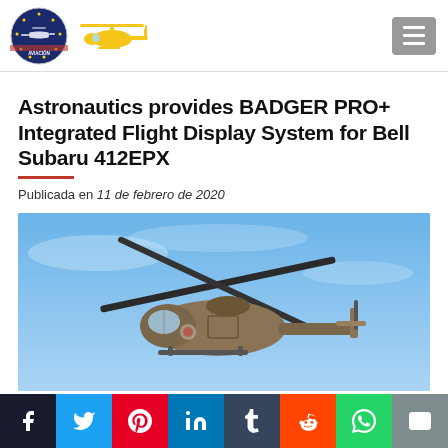[Figure (logo): Organization logo (circular badge with helicopter imagery) and yellow helicopter silhouette icon]
Astronautics provides BADGER PRO+ Integrated Flight Display System for Bell Subaru 412EPX
Publicada en 11 de febrero de 2020
[Figure (photo): Military helicopter (Bell 412EPX) in flight against blue sky, olive/brown camouflage livery]
[Figure (infographic): Social media share bar with icons for Facebook, Twitter, Pinterest, LinkedIn, Tumblr, Reddit, WhatsApp, Email]